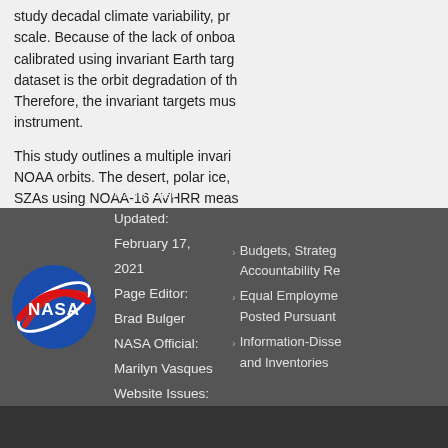study decadal climate variability, pro scale. Because of the lack of onboa calibrated using invariant Earth targ dataset is the orbit degradation of th Therefore, the invariant targets mus instrument.
This study outlines a multiple invari NOAA orbits. The desert, polar ice, SZAs using NOAA-16 AVHRR meas transfer of the MODIS calibration to over the North Pole. The multiple in optimize the resulting calibration sta well as from SNO, were found cons transferred to the reference calibrat record to derive the sensor-specific
PDF of Publication:
Download from publisher's website.
Page Last Updated: February 17, 2021
Page Editor: Brad Bulger
NASA Official: Marilyn Vasques
Website Issues: Contact Us
Budgets, Strate Accountability Re Equal Employme Posted Pursuant Information-Disse and Inventories